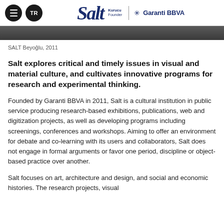Salt | Garanti BBVA — Kurucu / Founder
[Figure (photo): Partial photo of SALT Beyoğlu building interior or exterior, dark tones]
SALT Beyoğlu, 2011
Salt explores critical and timely issues in visual and material culture, and cultivates innovative programs for research and experimental thinking.
Founded by Garanti BBVA in 2011, Salt is a cultural institution in public service producing research-based exhibitions, publications, web and digitization projects, as well as developing programs including screenings, conferences and workshops. Aiming to offer an environment for debate and co-learning with its users and collaborators, Salt does not engage in formal arguments or favor one period, discipline or object-based practice over another.
Salt focuses on art, architecture and design, and social and economic histories. The research projects, visual